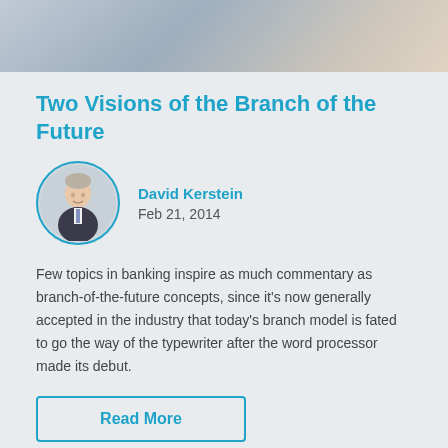[Figure (photo): Banner photo showing a blurred background with hands, muted blue-gray tones]
Two Visions of the Branch of the Future
[Figure (photo): Circular portrait photo of David Kerstein, a man in a suit and tie, smiling]
David Kerstein
Feb 21, 2014
Few topics in banking inspire as much commentary as branch-of-the-future concepts, since it's now generally accepted in the industry that today's branch model is fated to go the way of the typewriter after the word processor made its debut.
Read More